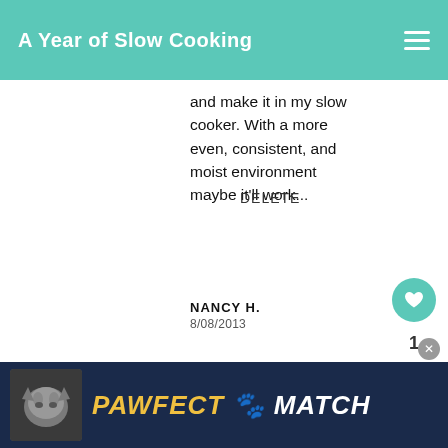A Year of Slow Cooking
and make it in my slow cooker. With a more even, consistent, and moist environment maybe it'll work...
DELETE
NANCY H.
8/08/2013
Thank you so much for this great po... been trying since 2007 to bake a lo... bread that didn't sink when I took it out of the oven. I tried everything...I thought......until now. Well I finally tried it...
[Figure (screenshot): WHAT'S NEXT arrow with CrockPot Bread thumbnail overlay]
[Figure (screenshot): PAWFECT MATCH advertisement banner with cat image]